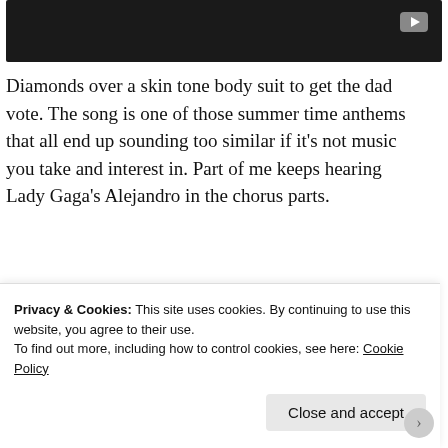[Figure (screenshot): Dark video thumbnail with play button in top right corner]
Diamonds over a skin tone body suit to get the dad vote. The song is one of those summer time anthems that all end up sounding too similar if it’s not music you take and interest in. Part of me keeps hearing Lady Gaga’s Alejandro in the chorus parts.
Advertisements
[Figure (screenshot): Advertisement banner: Launch your online course with WordPress - Learn More button, dark background with teal text]
REPORT THIS AD
Candy over a body suit in the...
Privacy & Cookies: This site uses cookies. By continuing to use this website, you agree to their use.
To find out more, including how to control cookies, see here: Cookie Policy
Close and accept